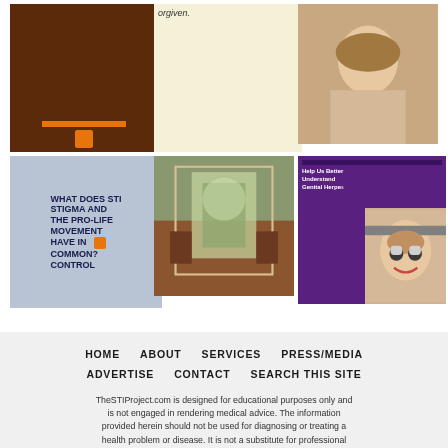[Figure (photo): Grid of 6 images: dark brown tile with orange accent, cream colored tile with italic text 'orgiven.', photo of blonde person, blue-gray text graphic reading 'WHAT DOES STI STIGMA AND THE PRO-LIFE MOVEMENT HAVE IN COMMON? CONTROL', interior home photo, purple survey graphic with 'Help Us Better Understand Genital Herpe' text and photo of smiling woman with glasses]
HOME
ABOUT
SERVICES
PRESS/MEDIA
ADVERTISE
CONTACT
SEARCH THIS SITE
TheSTIProject.com is designed for educational purposes only and is not engaged in rendering medical advice. The information provided herein should not be used for diagnosing or treating a health problem or disease. It is not a substitute for professional care. If you have or suspect you may have a health problem, consult your health care provider.
Copyright© 2012-2022 · Breaking the Stigma® and Dismantling